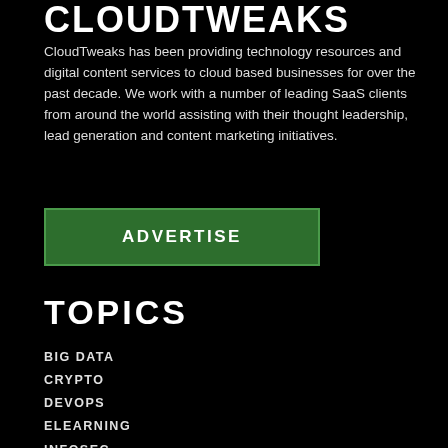CLOUDTWEAKS
CloudTweaks has been providing technology resources and digital content services to cloud based businesses for over the past decade. We work with a number of leading SaaS clients from around the world assisting with their thought leadership, lead generation and content marketing initiatives.
ADVERTISE
TOPICS
BIG DATA
CRYPTO
DEVOPS
ELEARNING
INFOSEC
PODCAST